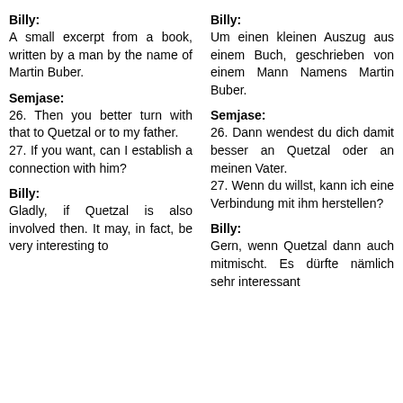Billy: A small excerpt from a book, written by a man by the name of Martin Buber.
Billy: Um einen kleinen Auszug aus einem Buch, geschrieben von einem Mann Namens Martin Buber.
Semjase: 26. Then you better turn with that to Quetzal or to my father. 27. If you want, can I establish a connection with him?
Semjase: 26. Dann wendest du dich damit besser an Quetzal oder an meinen Vater. 27. Wenn du willst, kann ich eine Verbindung mit ihm herstellen?
Billy: Gladly, if Quetzal is also involved then. It may, in fact, be very interesting to
Billy: Gern, wenn Quetzal dann auch mitmischt. Es dürfte nämlich sehr interessant